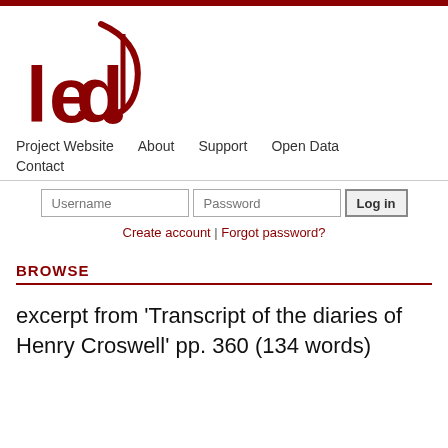[Figure (logo): LED project logo — red musical note with letters 'led' in bold dark red]
Project Website   About   Support   Open Data   Contact
Username  Password  Log in
Create account | Forgot password?
BROWSE
excerpt from 'Transcript of the diaries of Henry Croswell' pp. 360 (134 words)